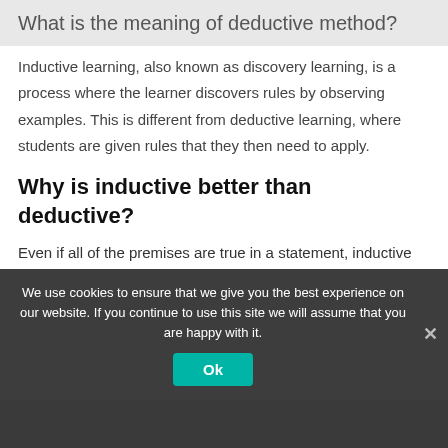What is the meaning of deductive method?
Inductive learning, also known as discovery learning, is a process where the learner discovers rules by observing examples. This is different from deductive learning, where students are given rules that they then need to apply.
Why is inductive better than deductive?
Even if all of the premises are true in a statement, inductive reasoning allows for the conclusion to be false. Inductive reasoning has its place in the scientific method. Scientists use it to form hypotheses and theories.
Deductive reasoning allows them to apply the theories to...
We use cookies to ensure that we give you the best experience on our website. If you continue to use this site we will assume that you are happy with it.
What is the most interesting topic in biology?